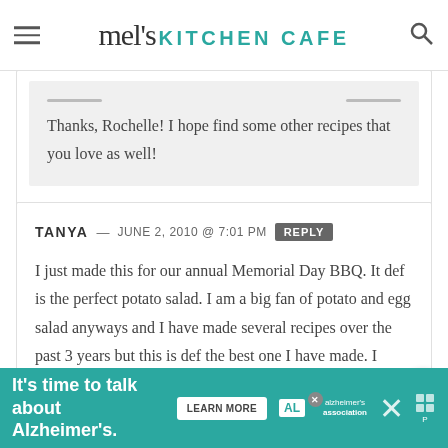mel's KITCHEN CAFE
Thanks, Rochelle! I hope find some other recipes that you love as well!
TANYA — JUNE 2, 2010 @ 7:01 PM REPLY
I just made this for our annual Memorial Day BBQ. It def is the perfect potato salad. I am a big fan of potato and egg salad anyways and I have made several recipes over the past 3 years but this is def the best one I have made. I
[Figure (infographic): Alzheimer's Association advertisement banner: It's time to talk about Alzheimer's. with Learn More button and association logo]